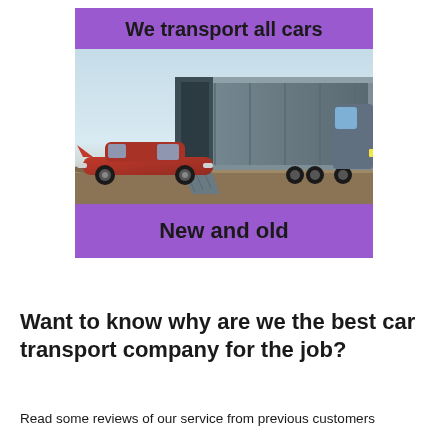[Figure (infographic): Purple banner with text 'We transport all cars' at top, a photo of a classic red car being loaded into a large enclosed car transport trailer truck, and purple banner with text 'New and old' at bottom]
Want to know why are we the best car transport company for the job?
Read some reviews of our service from previous customers